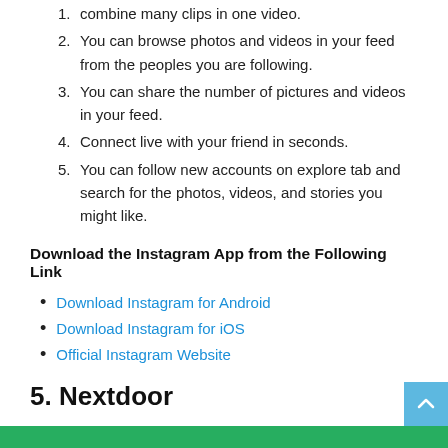combine many clips in one video.
You can browse photos and videos in your feed from the peoples you are following.
You can share the number of pictures and videos in your feed.
Connect live with your friend in seconds.
You can follow new accounts on explore tab and search for the photos, videos, and stories you might like.
Download the Instagram App from the Following Link
Download Instagram for Android
Download Instagram for iOS
Official Instagram Website
5. Nextdoor